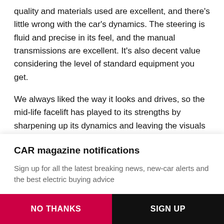quality and materials used are excellent, and there's little wrong with the car's dynamics. The steering is fluid and precise in its feel, and the manual transmissions are excellent. It's also decent value considering the level of standard equipment you get.
We always liked the way it looks and drives, so the mid-life facelift has played to its strengths by sharpening up its dynamics and leaving the visuals largely untouched, with a few minor nips and tucks staving off the signs of middle-
CAR magazine notifications
Sign up for all the latest breaking news, new-car alerts and the best electric buying advice
NO THANKS
SIGN UP